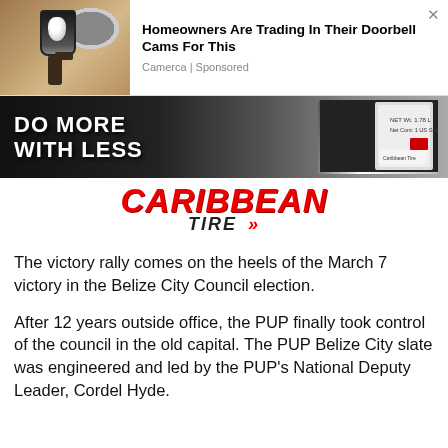[Figure (advertisement): Ad banner showing a wall-mounted security camera on a brick wall, with text 'Homeowners Are Trading In Their Doorbell Cams For This' and source 'Camerca | Sponsored']
[Figure (advertisement): Caribbean Tire advertisement showing 'DO MORE WITH LESS' slogan over dark background with product image, and Caribbean Tire logo in red italic text on white background]
The victory rally comes on the heels of the March 7 victory in the Belize City Council election.
After 12 years outside office, the PUP finally took control of the council in the old capital. The PUP Belize City slate was engineered and led by the PUP's National Deputy Leader, Cordel Hyde.